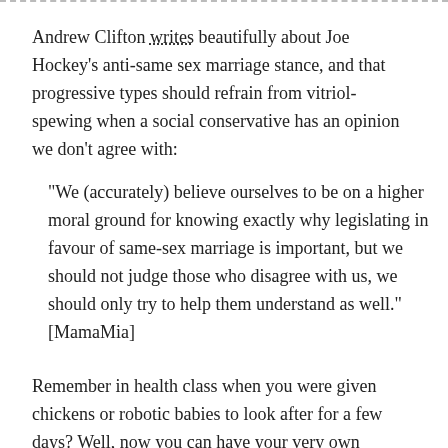Andrew Clifton writes beautifully about Joe Hockey's anti-same sex marriage stance, and that progressive types should refrain from vitriol-spewing when a social conservative has an opinion we don't agree with:
“We (accurately) believe ourselves to be on a higher moral ground for knowing exactly why legislating in favour of same-sex marriage is important, but we should not judge those who disagree with us, we should only try to help them understand as well.” [MamaMia]
Remember in health class when you were given chickens or robotic babies to look after for a few days? Well, now you can have your very own chicken-cross-Tamagotchi in the form of the “Pregnancy Text” campaign, which is aimed at teenagers in an attempt to show them a fraction of what it’s like to raise a baby. Mo.unt.ore. [Jezebel]